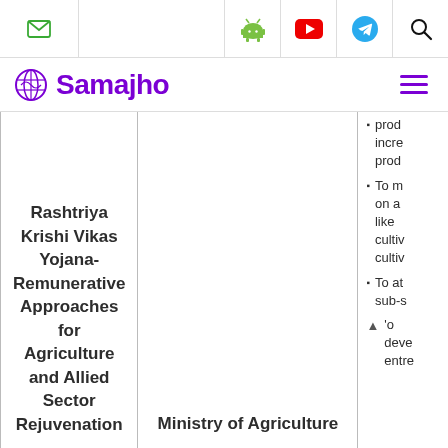Samajho - navigation bar with email, Android, YouTube, Telegram, Search icons and hamburger menu
| Scheme | Ministry | Objectives |
| --- | --- | --- |
| Rashtriya Krishi Vikas Yojana-Remunerative Approaches for Agriculture and Allied Sector Rejuvenation | Ministry of Agriculture | prod... incre... prod...
To m... on a... like... cultiv... cultiv...
To at... sub-s...
To deve... entre... |